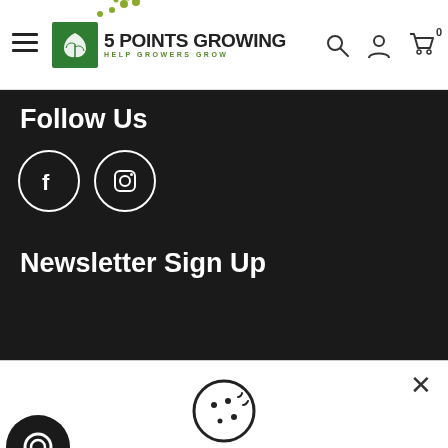5 POINTS GROWING - HELP GROWERS GROW
Follow Us
[Figure (illustration): Facebook and Instagram social media icons in white circles on dark background]
Newsletter Sign Up
[Figure (illustration): Cookie consent dialog with cookie icon, close button, text about cookie usage, and Decline/Accept buttons]
This website uses cookies to ensure you get the best experience. Learn more
Decline
Accept